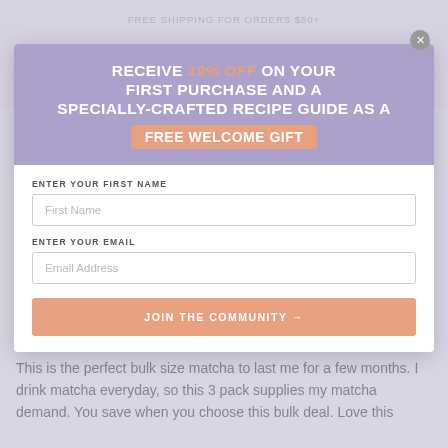FREE SHIPPING FOR ORDERS $50+
[Figure (screenshot): E-commerce website navigation bar with hamburger menu, logo placeholder, search and cart icons on a light lavender background]
Write a Review
Most Recent
Amanda
🇺🇸 United States
02/22/2022
👍 I recommend this product
PERFECT BULK SIZE MATCHA
This is the perfect bulk size matcha to last me for a few months. I drink matcha everyday, so this 3 pack supplies my matcha demand. You save when you choose this bulk deal. Love this
[Figure (screenshot): Email signup modal overlay on an e-commerce site. Shows promotional text: RECEIVE 10% OFF ON YOUR FIRST PURCHASE AND A SPECIALLY-CRAFTED RECIPE GUIDE AS A FREE WELCOME GIFT. Has input fields for First Name and Email Address, and a JOIN THE COMMUNITY button.]
RECEIVE 10% OFF ON YOUR FIRST PURCHASE AND A SPECIALLY-CRAFTED RECIPE GUIDE AS A FREE WELCOME GIFT
ENTER YOUR FIRST NAME
First Name
ENTER YOUR EMAIL
Email Address
JOIN THE COMMUNITY →